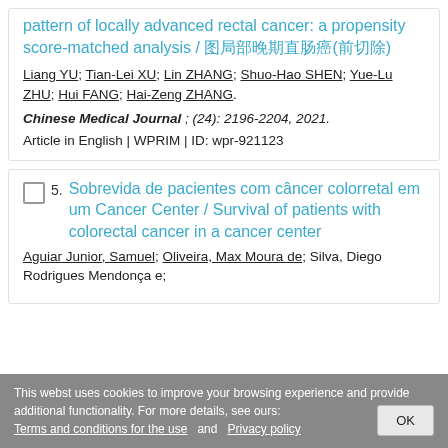pattern of locally advanced rectal cancer: a propensity score-matched analysis / 局部晚期直肠癌(前切除)
Liang YU; Tian-Lei XU; Lin ZHANG; Shuo-Hao SHEN; Yue-Lu ZHU; Hui FANG; Hai-Zeng ZHANG.
Chinese Medical Journal ; (24): 2196-2204, 2021.
Article in English | WPRIM | ID: wpr-921123
Sobrevida de pacientes com câncer colorretal em um Cancer Center / Survival of patients with colorectal cancer in a cancer center
Aguiar Junior, Samuel; Oliveira, Max Moura de; Silva, Diego Rodrigues Mendonça e;
This website uses cookies to improve your browsing experience and provide additional functionality. For more details, see ours: Terms and conditions for the use and Privacy policy